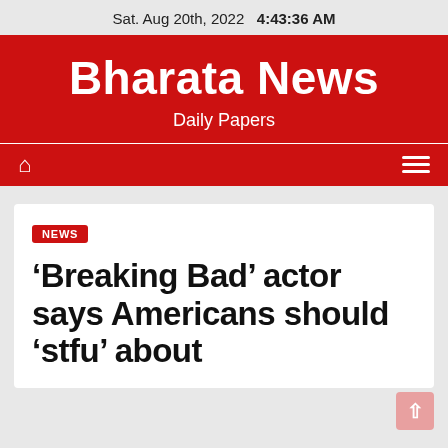Sat. Aug 20th, 2022  4:43:36 AM
Bharata News
Daily Papers
NEWS
‘Breaking Bad’ actor says Americans should ‘stfu’ about